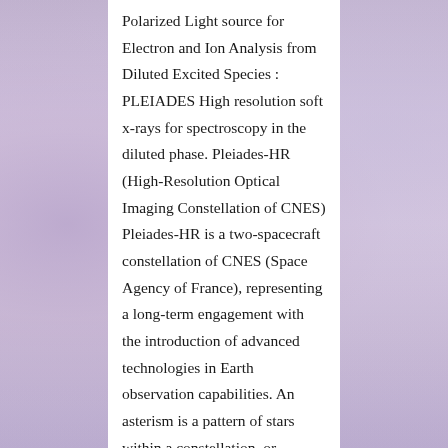Polarized Light source for Electron and Ion Analysis from Diluted Excited Species : PLEIADES High resolution soft x-rays for spectroscopy in the diluted phase. Pleiades-HR (High-Resolution Optical Imaging Constellation of CNES) Pleiades-HR is a two-spacecraft constellation of CNES (Space Agency of France), representing a long-term engagement with the introduction of advanced technologies in Earth observation capabilities. An asterism is a pattern of stars within a constellation, or composed of a number of constellations. Pleiades has received significant, periodic support from the National Endowment for the Humanities